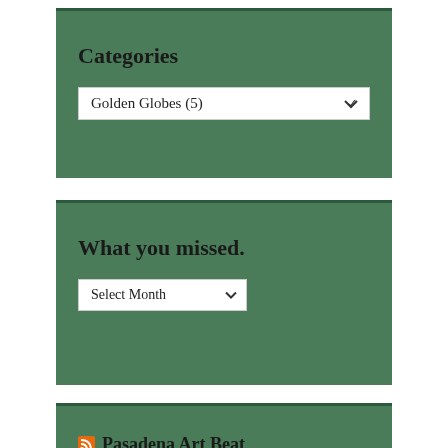Categories
Golden Globes  (5)
What you missed.
Select Month
Pasadena Art Beat